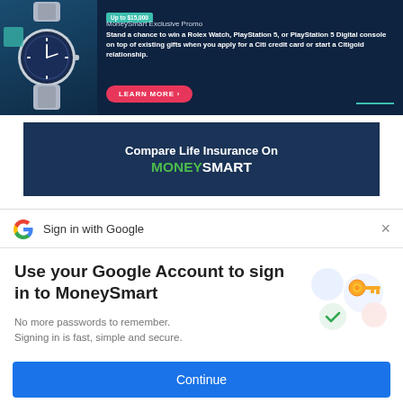[Figure (infographic): MoneySmart exclusive promo banner with Rolex watch image, promotion text about winning prizes, and a 'Learn More' button on dark navy background]
[Figure (infographic): Compare Life Insurance On MONEYSMART banner with dark navy blue background and green/white text]
Sign in with Google
Use your Google Account to sign in to MoneySmart
No more passwords to remember. Signing in is fast, simple and secure.
[Figure (illustration): Google key illustration with colorful circles and a golden key icon]
Continue